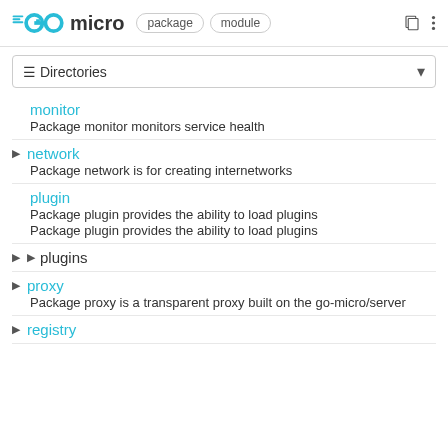GO micro package module
Directories
monitor
Package monitor monitors service health
network
Package network is for creating internetworks
plugin
Package plugin provides the ability to load plugins
Package plugin provides the ability to load plugins
plugins
proxy
Package proxy is a transparent proxy built on the go-micro/server
registry